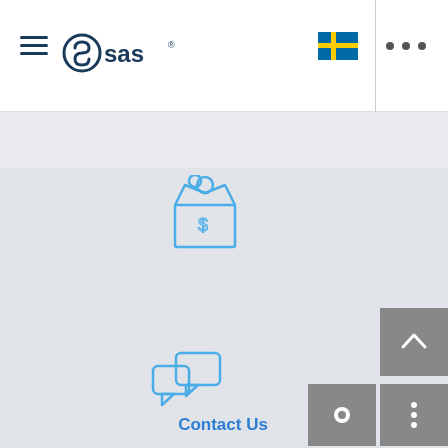[Figure (screenshot): SAS Institute web navigation bar with hamburger menu icon, SAS logo, Swedish flag icon, ellipsis menu, and vertical separator line]
Bank Analytics
[Figure (illustration): Blue outline illustration of a bank/money box icon with coins at center top of content area]
[Figure (screenshot): SAS chat popup widget with blue header containing SAS logo circle and text 'Click Get Started to chat!', white body with 'Get Started' button, and close X button]
[Figure (illustration): Blue outline chat bubble icons with 'Contact Us' label below]
Contact Us